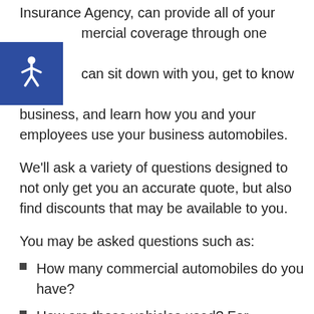Insurance Agency, can provide all of your commercial coverage through one office. can sit down with you, get to know your business, and learn how you and your employees use your business automobiles.
[Figure (illustration): Blue accessibility icon with wheelchair symbol]
We'll ask a variety of questions designed to not only get you an accurate quote, but also find discounts that may be available to you.
You may be asked questions such as:
How many commercial automobiles do you have?
How are those vehicles used? For example,